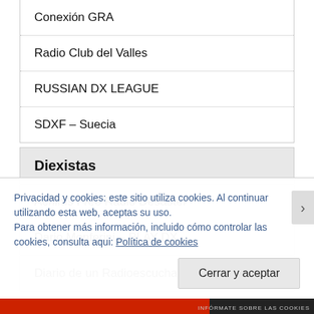Conexión GRA
Radio Club del Valles
RUSSIAN DX LEAGUE
SDXF – Suecia
Diexistas
Achims Free Radio Desaster
Dario Monferini – PLAY DX
Diario de un Radioescucha
Privacidad y cookies: este sitio utiliza cookies. Al continuar utilizando esta web, aceptas su uso.
Para obtener más información, incluido cómo controlar las cookies, consulta aqui: Política de cookies
Cerrar y aceptar